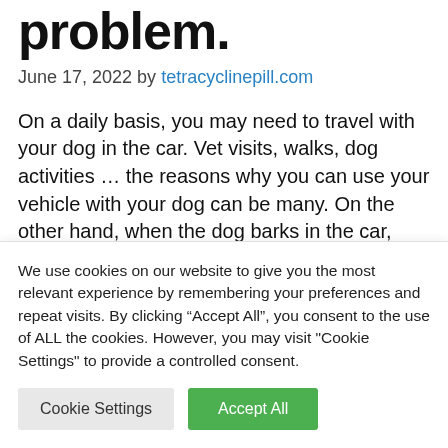problem.
June 17, 2022 by tetracyclinepill.com
On a daily basis, you may need to travel with your dog in the car. Vet visits, walks, dog activities … the reasons why you can use your vehicle with your dog can be many. On the other hand, when the dog barks in the car, each ride can become painful, even a
We use cookies on our website to give you the most relevant experience by remembering your preferences and repeat visits. By clicking “Accept All”, you consent to the use of ALL the cookies. However, you may visit "Cookie Settings" to provide a controlled consent.